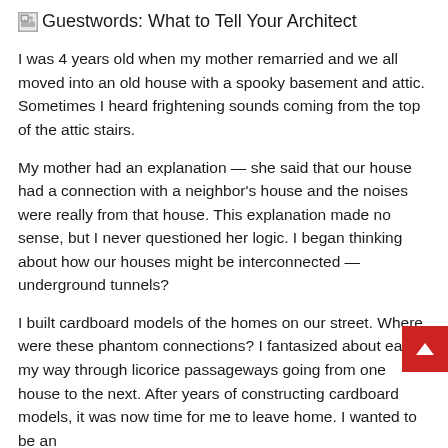Guestwords: What to Tell Your Architect
I was 4 years old when my mother remarried and we all moved into an old house with a spooky basement and attic. Sometimes I heard frightening sounds coming from the top of the attic stairs.
My mother had an explanation — she said that our house had a connection with a neighbor's house and the noises were really from that house. This explanation made no sense, but I never questioned her logic. I began thinking about how our houses might be interconnected — underground tunnels?
I built cardboard models of the homes on our street. Where were these phantom connections? I fantasized about eating my way through licorice passageways going from one house to the next. After years of constructing cardboard models, it was now time for me to leave home. I wanted to be an